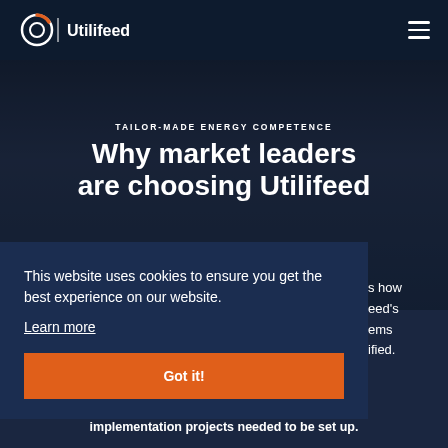[Figure (logo): Utilifeed logo — circular icon with orange arc and white circle, vertical divider, then 'Utilifeed' wordmark in white]
TAILOR-MADE ENERGY COMPETENCE
Why market leaders are choosing Utilifeed
This website uses cookies to ensure you get the best experience on our website.
Learn more
Got it!
s how eed's ems ified.
implementation projects needed to be set up.